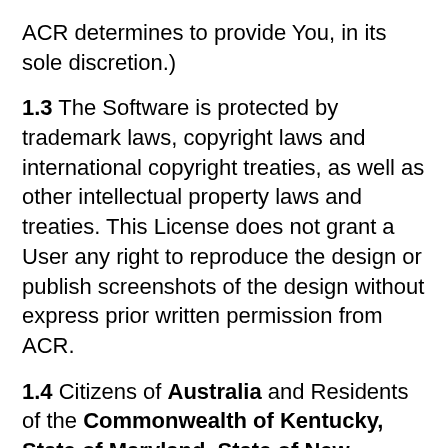ACR determines to provide You, in its sole discretion.)
1.3 The Software is protected by trademark laws, copyright laws and international copyright treaties, as well as other intellectual property laws and treaties. This License does not grant a User any right to reproduce the design or publish screenshots of the design without express prior written permission from ACR.
1.4 Citizens of Australia and Residents of the Commonwealth of Kentucky, State of Maryland, State of New Jersey, State of Delaware, State of Nevada or Washington State may not download and use the ACR Software for any purpose. No license is granted hereunder to any User